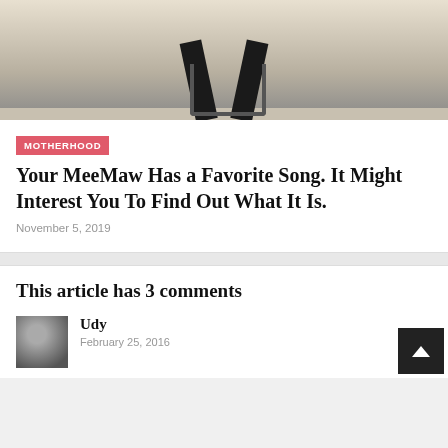[Figure (photo): A person doing a backbend or limbo pose over a walker/mobility aid in an indoor room with light wooden flooring]
MOTHERHOOD
Your MeeMaw Has a Favorite Song. It Might Interest You To Find Out What It Is.
November 5, 2019
This article has 3 comments
[Figure (photo): Small circular/square avatar photo of commenter Udy, black and white photo of a person]
Udy
February 25, 2016